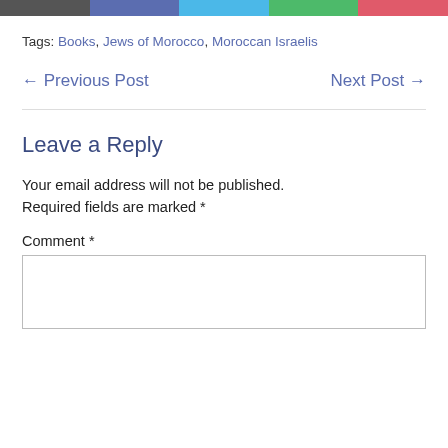[Figure (other): Social share bar with five colored segments: gray, blue-purple, light blue, green, pink-red]
Tags: Books, Jews of Morocco, Moroccan Israelis
← Previous Post   Next Post →
Leave a Reply
Your email address will not be published. Required fields are marked *
Comment *